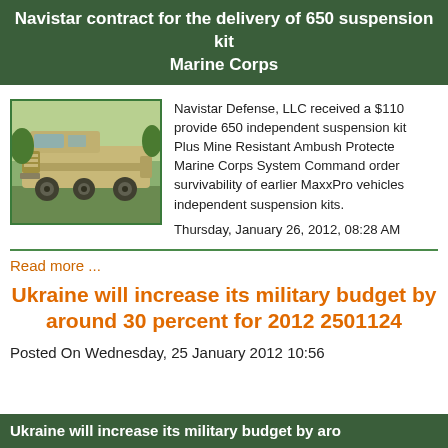Navistar contract for the delivery of 650 suspension kits for Marine Corps
[Figure (photo): Military MRAP vehicle (tan/beige armored truck) parked outdoors on grass]
Navistar Defense, LLC received a $110 provide 650 independent suspension kits Plus Mine Resistant Ambush Protected Marine Corps System Command order survivability of earlier MaxxPro vehicles independent suspension kits. Thursday, January 26, 2012, 08:28 AM
Read more ...
Ukraine will increase its military budget by around 30 percent for 2012 2501124
Posted On Wednesday, 25 January 2012 10:56
Ukraine will increase its military budget by aro